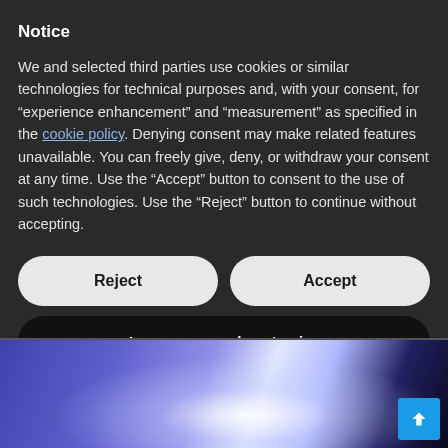Notice
We and selected third parties use cookies or similar technologies for technical purposes and, with your consent, for “experience enhancement” and “measurement” as specified in the cookie policy. Denying consent may make related features unavailable. You can freely give, deny, or withdraw your consent at any time. Use the “Accept” button to consent to the use of such technologies. Use the “Reject” button to continue without accepting.
Reject
Accept
Learn more and customize
[Figure (photo): Blue and dark abstract background image, possibly showing a shiny metallic or technological surface with blue and purple hues and a bright light source]